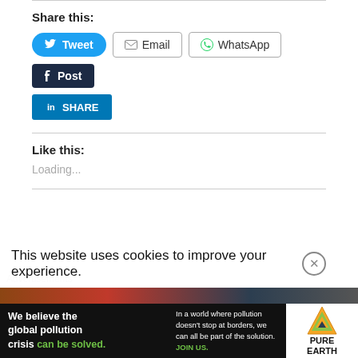Share this:
[Figure (screenshot): Social share buttons: Tweet (Twitter/blue), Email, WhatsApp, Post (Tumblr/dark navy), LinkedIn Share]
Like this:
Loading...
This website uses cookies to improve your experience.
[Figure (infographic): Advertisement banner: Pure Earth - We believe the global pollution crisis can be solved. In a world where pollution doesn't stop at borders, we can all be part of the solution. JOIN US.]